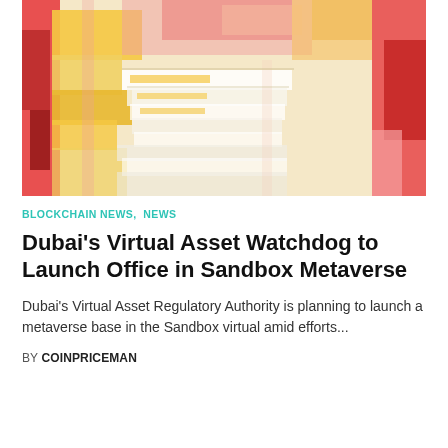[Figure (illustration): Abstract colorful painting with yellow, red, pink, and white tones, resembling stacked or layered abstract shapes.]
BLOCKCHAIN NEWS, NEWS
Dubai's Virtual Asset Watchdog to Launch Office in Sandbox Metaverse
Dubai's Virtual Asset Regulatory Authority is planning to launch a metaverse base in the Sandbox virtual amid efforts...
BY COINPRICEMAN